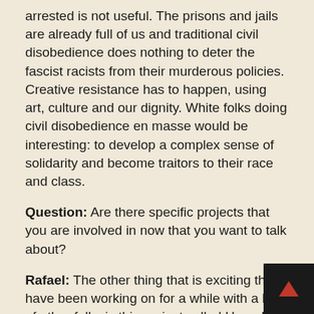arrested is not useful. The prisons and jails are already full of us and traditional civil disobedience does nothing to deter the fascist racists from their murderous policies. Creative resistance has to happen, using art, culture and our dignity. White folks doing civil disobedience en masse would be interesting: to develop a complex sense of solidarity and become traitors to their race and class.
Question: Are there specific projects that you are involved in now that you want to talk about?
Rafael: The other thing that is exciting that I have been working on for a while with a lot of other folks is this project called Harm Free Zone with the Escuela Popular Nortena (EPN), a popular education school I am in. EPN and Critical Resistance have been doing this project for a few years, and it is the notion that we need to concentrate on ourselves and transform our relationships and how we treat each other. We need to stop reproducing within each other the hatred that the